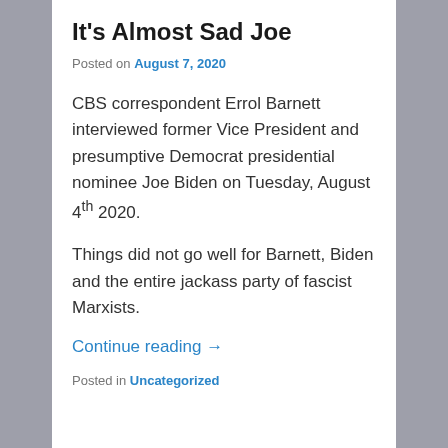It's Almost Sad Joe
Posted on August 7, 2020
CBS correspondent Errol Barnett interviewed former Vice President and presumptive Democrat presidential nominee Joe Biden on Tuesday, August 4th 2020.
Things did not go well for Barnett, Biden and the entire jackass party of fascist Marxists.
Continue reading →
Posted in Uncategorized